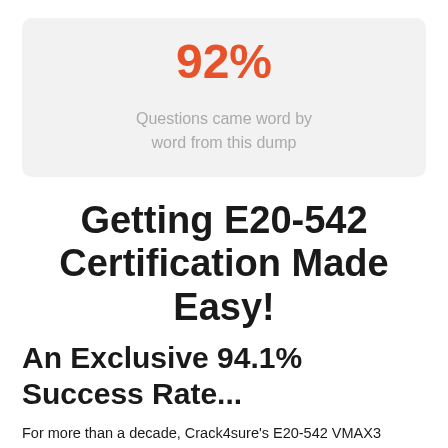[Figure (infographic): A light gray rounded box displaying '92%' in large orange/red bold text, with the subtitle text 'Questions came word by word from this dump' in gray below it.]
Getting E20-542 Certification Made Easy!
An Exclusive 94.1% Success Rate...
For more than a decade, Crack4sure's E20-542 VMAX3 Solutions and Design Specialist Exam for Technology Architects study guides and dumps are providing the best help